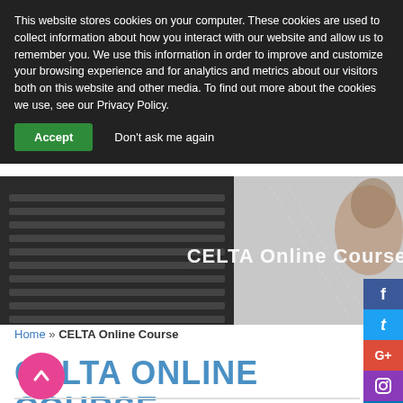This website stores cookies on your computer. These cookies are used to collect information about how you interact with our website and allow us to remember you. We use this information in order to improve and customize your browsing experience and for analytics and metrics about our visitors both on this website and other media. To find out more about the cookies we use, see our Privacy Policy.
Accept  Don't ask me again
[Figure (photo): Hero image showing a laptop keyboard and a person's head in the background, with 'CELTA Online Course' text overlaid in white]
CELTA Online Course
Home » CELTA Online Course
CELTA ONLINE COURSE